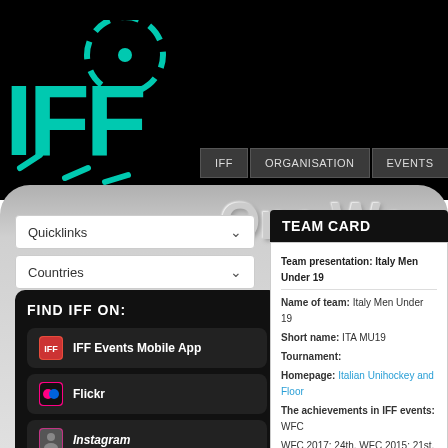[Figure (logo): IFF (International Floorball Federation) logo in teal/cyan color on black background, showing stylized ball and IFF text]
IFF | ORGANISATION | EVENTS | DEVELOPMENT
One Wo[rld]
Quicklinks
Countries
FIND IFF ON:
IFF Events Mobile App
Flickr
Instagram
TEAM CARD
Team presentation: Italy Men Under 19
Name of team: Italy Men Under 19
Short name: ITA MU19
Tournament:
Homepage: Italian Unihockey and Floor[ball Federation]
The achievements in IFF events: WFC[...]
WFC 2017: 24th, WFC 2015: 21st, WFC 2[...]